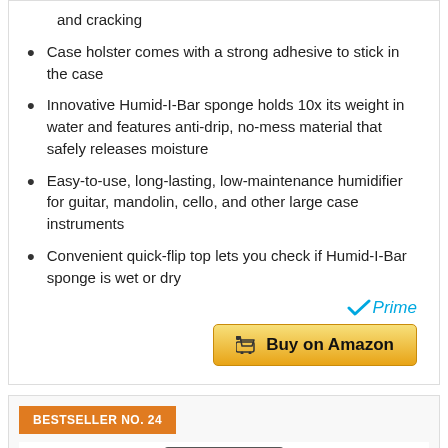and cracking
Case holster comes with a strong adhesive to stick in the case
Innovative Humid-I-Bar sponge holds 10x its weight in water and features anti-drip, no-mess material that safely releases moisture
Easy-to-use, long-lasting, low-maintenance humidifier for guitar, mandolin, cello, and other large case instruments
Convenient quick-flip top lets you check if Humid-I-Bar sponge is wet or dry
[Figure (logo): Amazon Prime logo with checkmark and italic Prime text in blue]
[Figure (other): Buy on Amazon button with shopping cart icon, gold/orange gradient background]
BESTSELLER NO. 24
[Figure (photo): Partial product image at bottom of page, dark colored item]
[Figure (other): Orange scroll-to-top button with upward arrow]